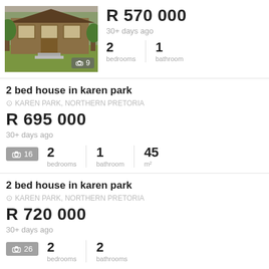[Figure (photo): Exterior photo of a house with a green lawn and wooden structure]
R 570 000
30+ days ago
2 bedrooms | 1 bathroom
2 bed house in karen park
KAREN PARK, NORTHERN PRETORIA
R 695 000
30+ days ago
2 bedrooms | 1 bathroom | 45 m²
2 bed house in karen park
KAREN PARK, NORTHERN PRETORIA
R 720 000
30+ days ago
2 bedrooms | 2 bathrooms